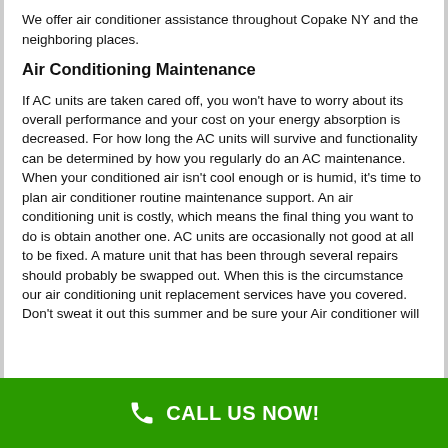We offer air conditioner assistance throughout Copake NY and the neighboring places.
Air Conditioning Maintenance
If AC units are taken cared off, you won't have to worry about its overall performance and your cost on your energy absorption is decreased. For how long the AC units will survive and functionality can be determined by how you regularly do an AC maintenance. When your conditioned air isn't cool enough or is humid, it's time to plan air conditioner routine maintenance support. An air conditioning unit is costly, which means the final thing you want to do is obtain another one. AC units are occasionally not good at all to be fixed. A mature unit that has been through several repairs should probably be swapped out. When this is the circumstance our air conditioning unit replacement services have you covered. Don't sweat it out this summer and be sure your Air conditioner will
CALL US NOW!